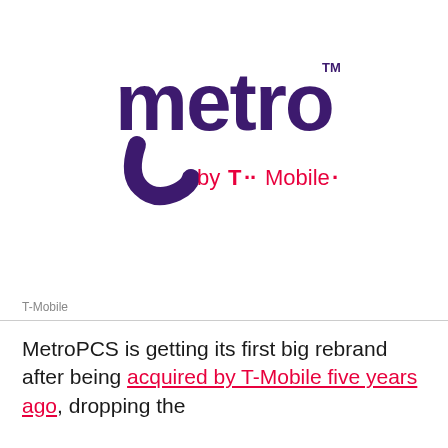[Figure (logo): Metro by T-Mobile logo — 'metro' in large dark purple text with a curved underline swoosh, 'by T-Mobile' in magenta/pink below with T-Mobile T-logo mark and dots, and a small TM superscript.]
T-Mobile
MetroPCS is getting its first big rebrand after being acquired by T-Mobile five years ago, dropping the PCS...